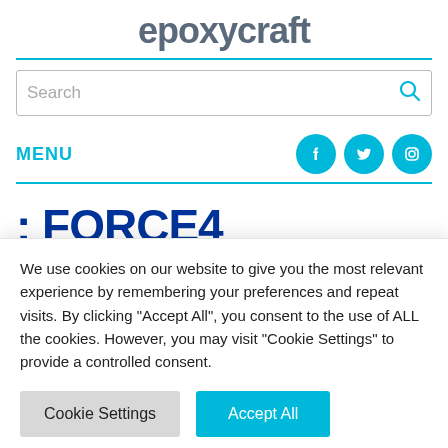epoxycraft
[Figure (other): Search bar with magnifying glass icon]
MENU
[Figure (other): Social media icons: Facebook, Twitter, Instagram (cyan circles)]
: FORCE4 SHAMROCK QUAY
We use cookies on our website to give you the most relevant experience by remembering your preferences and repeat visits. By clicking “Accept All”, you consent to the use of ALL the cookies. However, you may visit "Cookie Settings" to provide a controlled consent.
Cookie Settings   Accept All